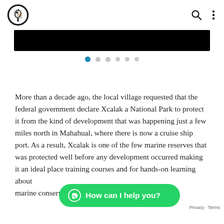[Logo] [Search icon] [More options icon]
[Figure (photo): Black banner image (partially visible, top cropped)]
[Figure (other): Carousel pagination dots: 6 dots, first one active (blue), remaining grey]
More than a decade ago, the local village requested that the federal government declare Xcalak a National Park to protect it from the kind of development that was happening just a few miles north in Mahahual, where there is now a cruise ship port. As a result, Xcalak is one of the few marine reserves that was protected well before any development occurred making it an ideal place training courses and for hands-on learning about marine conservation.
[Figure (other): Green WhatsApp chat button with text 'How can I help you?']
Privacy · Terms